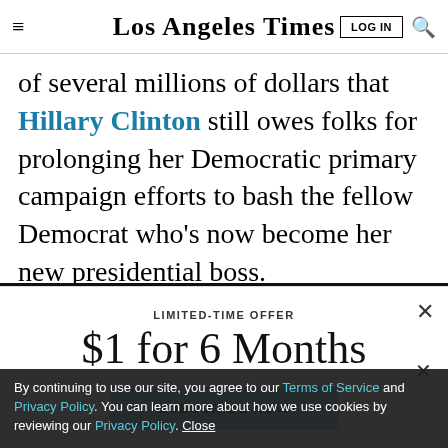Los Angeles Times
of several millions of dollars that Hillary Clinton still owes folks for prolonging her Democratic primary campaign efforts to bash the fellow Democrat who’s now become her new presidential boss.
LIMITED-TIME OFFER
$1 for 6 Months
SUBSCRIBE NOW
By continuing to use our site, you agree to our Terms of Service and Privacy Policy. You can learn more about how we use cookies by reviewing our Privacy Policy. Close